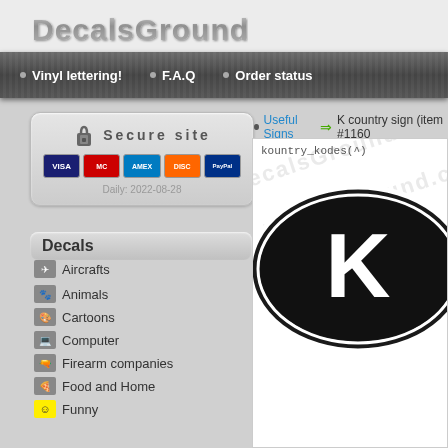DecalsGround.com
Vinyl lettering!
F.A.Q
Order status
Secure site
Daily: 2022-08-28
Decals
Aircrafts
Animals
Cartoons
Computer
Firearm companies
Food and Home
Funny
Useful Signs ⇒ K country sign (item #1160
kountry_kodes(^)
[Figure (photo): Black oval decal with white letter K in the center, with white oval border ring — a K country code sticker. Watermark text 'DecalsGround.com' overlaid diagonally.]